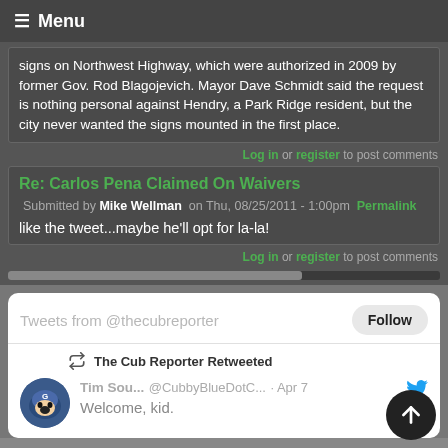≡ Menu
signs on Northwest Highway, which were authorized in 2009 by former Gov. Rod Blagojevich. Mayor Dave Schmidt said the request is nothing personal against Hendry, a Park Ridge resident, but the city never wanted the signs mounted in the first place.
Log in or register to post comments
Re: Carlos Pena Claimed On Waivers
Submitted by Mike Wellman on Thu, 08/25/2011 - 1:00pm  Permalink
like the tweet...maybe he'll opt for la-la!
Log in or register to post comments
[Figure (screenshot): Twitter widget showing 'Tweets from @thecubreporter' with a Follow button, and a retweet from Tim Sou... @CubbyBlueDotC... · Apr 7 saying 'Welcome, kid.']